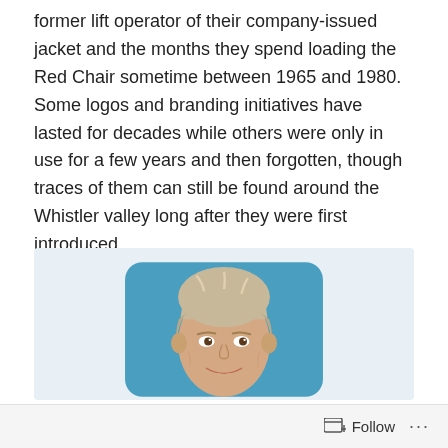former lift operator of their company-issued jacket and the months they spend loading the Red Chair sometime between 1965 and 1980. Some logos and branding initiatives have lasted for decades while others were only in use for a few years and then forgotten, though traces of them can still be found around the Whistler valley long after they were first introduced.
[Figure (photo): Portrait photo of a middle-aged man with grey-blonde hair, smiling, against a blue background with rounded corners on the frame.]